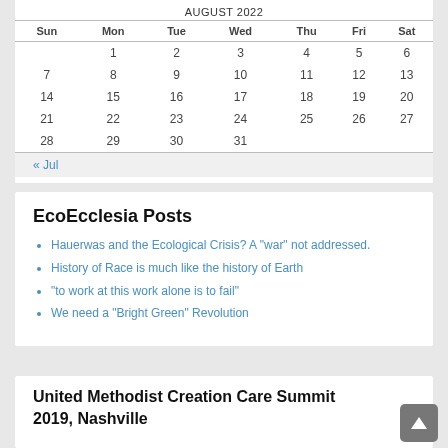| Sun | Mon | Tue | Wed | Thu | Fri | Sat |
| --- | --- | --- | --- | --- | --- | --- |
|  | 1 | 2 | 3 | 4 | 5 | 6 |
| 7 | 8 | 9 | 10 | 11 | 12 | 13 |
| 14 | 15 | 16 | 17 | 18 | 19 | 20 |
| 21 | 22 | 23 | 24 | 25 | 26 | 27 |
| 28 | 29 | 30 | 31 |  |  |  |
| « Jul |  |  |  |  |  |  |
EcoEcclesia Posts
Hauerwas and the Ecological Crisis? A "war" not addressed.
History of Race is much like the history of Earth
"to work at this work alone is to fail"
We need a "Bright Green" Revolution
United Methodist Creation Care Summit 2019, Nashville